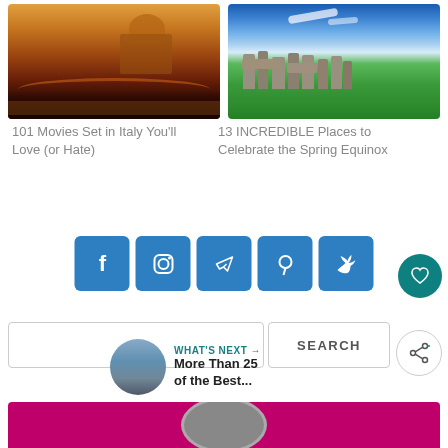[Figure (photo): Night cityscape of Rome with St. Peter's Basilica dome lit at dusk, river in foreground]
[Figure (photo): Stonehenge standing stones under blue sky with green grass field]
101 Movies Set in Italy You'll Love (or Hate)
13 INCREDIBLE Places to Celebrate the Spring Equinox
[Figure (infographic): Row of five blue social media share buttons: Facebook, Instagram, Telegram, Pinterest, Twitter]
[Figure (infographic): Teal circular heart/favorite button on right side]
[Figure (infographic): White circular share button on right side]
SEARCH
WHAT'S NEXT → More Than 25 of the Best...
[Figure (photo): Bottom advertisement strip in magenta/pink color]